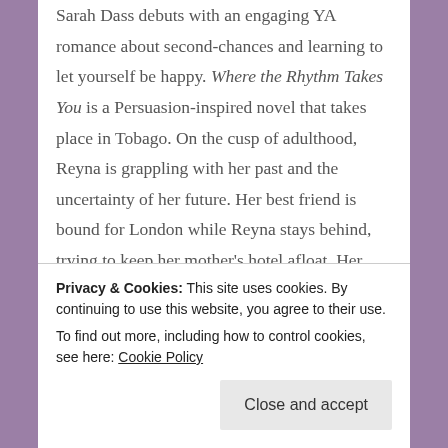Sarah Dass debuts with an engaging YA romance about second-chances and learning to let yourself be happy. Where the Rhythm Takes You is a Persuasion-inspired novel that takes place in Tobago. On the cusp of adulthood, Reyna is grappling with her past and the uncertainty of her future. Her best friend is bound for London while Reyna stays behind, trying to keep her mother's hotel afloat. Her father seems content to hand over the reins of the hotel to someone else, but Reyna can't quite let go of the last thing she has of her mother's. When Reyna's first love returns unexpectedly, his presence throws
Privacy & Cookies: This site uses cookies. By continuing to use this website, you agree to their use.
To find out more, including how to control cookies, see here: Cookie Policy
Close and accept
retellings, Where the Rhythm Takes You is perfect for